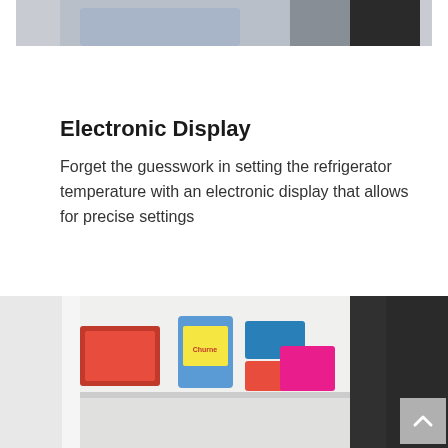[Figure (photo): Top portion of a person in a blue shirt near a stainless steel refrigerator door]
Electronic Display
Forget the guesswork in setting the refrigerator temperature with an electronic display that allows for precise settings
[Figure (photo): Open refrigerator freezer drawer showing food items including a Churnee container, colored containers, and wrapped items]